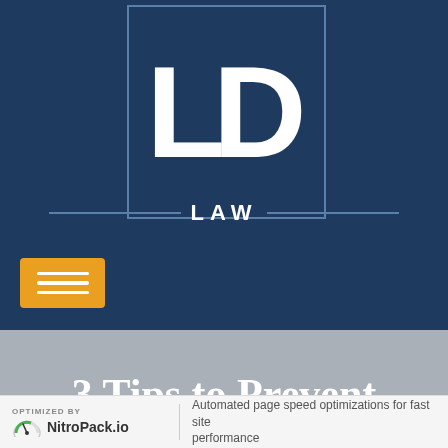[Figure (logo): LD Law firm logo — white 'LD' letters inside a dark navy square border with horizontal lines and 'LAW' text centered below]
[Figure (other): Orange hamburger menu button with three white horizontal lines]
3 Tips to Prevent Coronavirus Lawsuits
OPTIMIZED BY NitroPack.io | Automated page speed optimizations for fast site performance